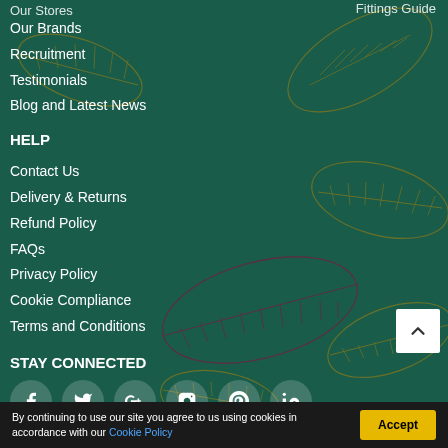Our Stores
Fittings Guide
Our Brands
Recruitment
Testimonials
Blog and Latest News
HELP
Contact Us
Delivery & Returns
Refund Policy
FAQs
Privacy Policy
Cookie Compliance
Terms and Conditions
STAY CONNECTED
[Figure (illustration): Row of social media icons: Facebook, Twitter, Google+, Instagram, Pinterest, LinkedIn — white icons on semi-transparent circular backgrounds]
By continuing to use our site you agree to us using cookies in accordance with our Cookie Policy
Accept